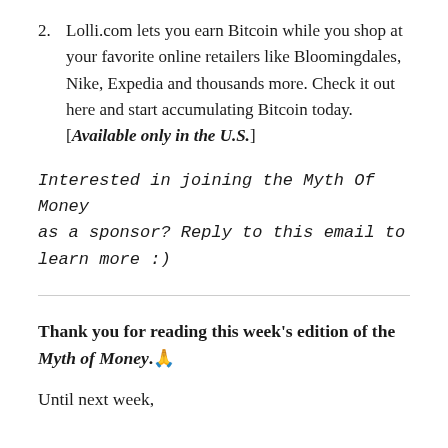2. Lolli.com lets you earn Bitcoin while you shop at your favorite online retailers like Bloomingdales, Nike, Expedia and thousands more. Check it out here and start accumulating Bitcoin today. [Available only in the U.S.]
Interested in joining the Myth Of Money as a sponsor? Reply to this email to learn more :)
Thank you for reading this week's edition of the Myth of Money.🙏
Until next week,